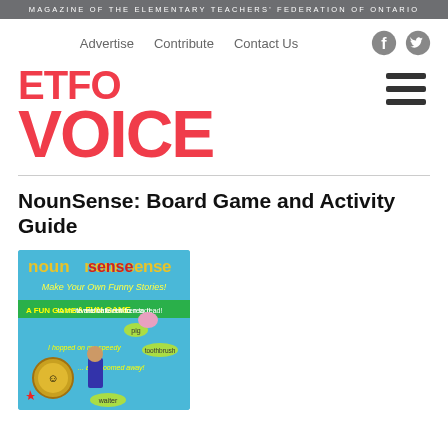MAGAZINE OF THE ELEMENTARY TEACHERS' FEDERATION OF ONTARIO
Advertise   Contribute   Contact Us
ETFO VOICE
NounSense: Board Game and Activity Guide
[Figure (photo): Cover image of NounSense board game: a colorful blue card game box titled 'noun sense' with tagline 'Make Your Own Funny Stories!' and 'A FUN GAME to motivate children to read!' showing illustrated characters and words like 'pig', 'toothbrush', 'waiter'.]